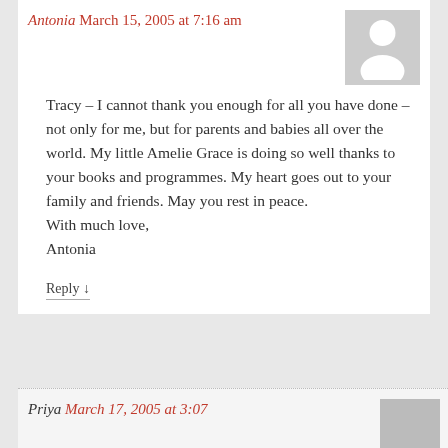Antonia March 15, 2005 at 7:16 am
Tracy – I cannot thank you enough for all you have done – not only for me, but for parents and babies all over the world. My little Amelie Grace is doing so well thanks to your books and programmes. My heart goes out to your family and friends. May you rest in peace.
With much love,
Antonia
Reply ↓
Priya March 17, 2005 at 3:07